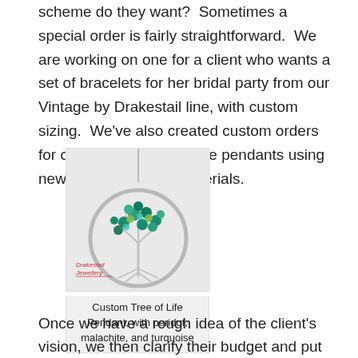scheme do they want? Sometimes a special order is fairly straightforward. We are working on one for a client who wants a set of bracelets for her bridal party from our Vintage by Drakestail line, with custom sizing. We've also created custom orders for our popular Tree of Life pendants using new gemstones and materials.
[Figure (photo): A Tree of Life pendant with teal/turquoise and green gemstone beads arranged as a tree within a silver wire circular frame, hanging on a chain. The Drakestail Jewellery logo is visible in red text in the lower left of the image.]
Custom Tree of Life Pendant, with peridot, malachite, and turquoise
Once we have a rough idea of the client's vision, we then clarify their budget and put together a quote. Roxy and I